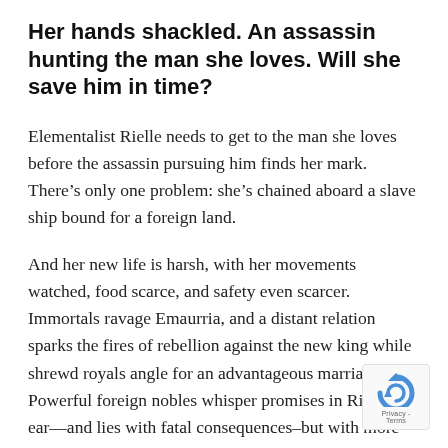Her hands shackled. An assassin hunting the man she loves. Will she save him in time?
Elementalist Rielle needs to get to the man she loves before the assassin pursuing him finds her mark. There’s only one problem: she’s chained aboard a slave ship bound for a foreign land.
And her new life is harsh, with her movements watched, food scarce, and safety even scarcer. Immortals ravage Emaurria, and a distant relation sparks the fires of rebellion against the new king while shrewd royals angle for an advantageous marriage. Powerful foreign nobles whisper promises in Rielle’s ear—and lies with fatal consequences–but with more than her life at stake,